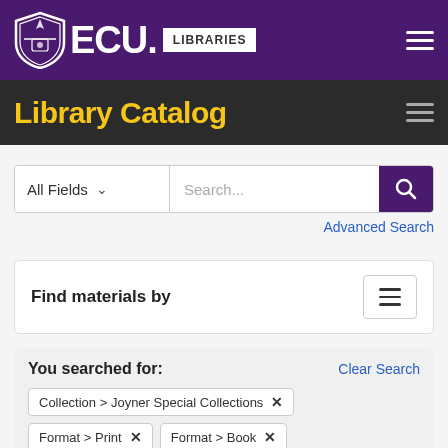[Figure (logo): ECU Libraries header logo with purple shield and white ECU text next to a white box with LIBRARIES text]
Library Catalog
All Fields  Search...  Advanced Search
Find materials by
You searched for:  Clear Search
Collection > Joyner Special Collections ✕
Format > Print ✕   Format > Book ✕
Publication Date > 1998 ✕